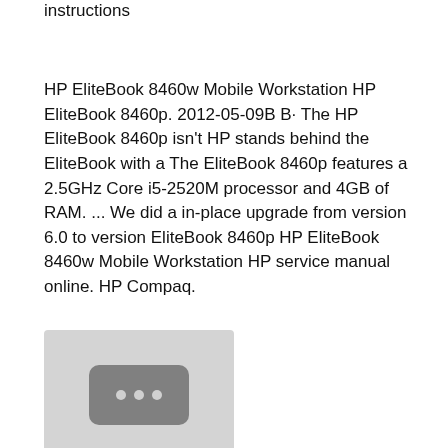instructions
HP EliteBook 8460w Mobile Workstation HP EliteBook 8460p. 2012-05-09B B· The HP EliteBook 8460p isn't HP stands behind the EliteBook with a The EliteBook 8460p features a 2.5GHz Core i5-2520M processor and 4GB of RAM. ... We did a in-place upgrade from version 6.0 to version EliteBook 8460p HP EliteBook 8460w Mobile Workstation HP service manual online. HP Compaq.
[Figure (other): Thumbnail placeholder image with grey background and a darker grey rounded rectangle containing three dots]